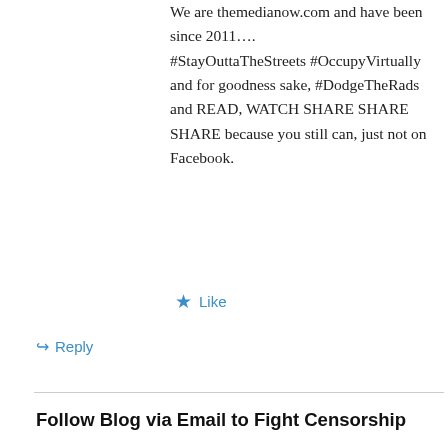We are themedianow.com and have been since 2011…. #StayOuttaTheStreets #OccupyVirtually and for goodness sake, #DodgeTheRads and READ, WATCH SHARE SHARE SHARE because you still can, just not on Facebook.
Like
Reply
Follow Blog via Email to Fight Censorship
Enter your email address to follow this blog and receive notifications of new posts by email to fight censorship because WE ARE THE MEDIA NOW